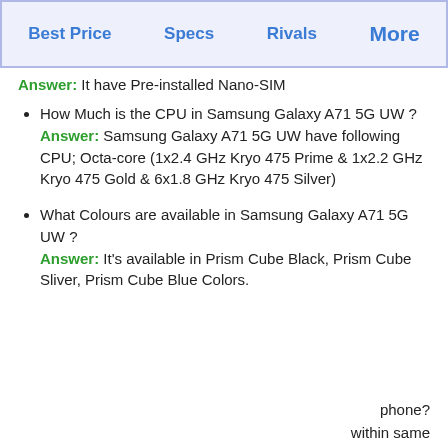Best Price   Specs   Rivals   More
Answer: It have Pre-installed Nano-SIM
How Much is the CPU in Samsung Galaxy A71 5G UW ?
Answer: Samsung Galaxy A71 5G UW have following CPU; Octa-core (1x2.4 GHz Kryo 475 Prime & 1x2.2 GHz Kryo 475 Gold & 6x1.8 GHz Kryo 475 Silver)
What Colours are available in Samsung Galaxy A71 5G UW ?
Answer: It's available in Prism Cube Black, Prism Cube Sliver, Prism Cube Blue Colors.
phone?
within same